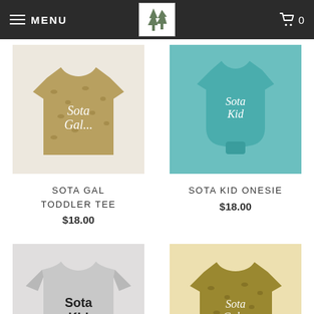MENU | GET OUTSIDE Shop | Cart 0
[Figure (photo): Leopard print tan toddler tee with 'Sota Gal' script text in white]
SOTA GAL TODDLER TEE
$18.00
[Figure (photo): Teal onesie with 'Sota Kid' text in white]
SOTA KID ONESIE
$18.00
[Figure (photo): Gray long sleeve shirt with 'Sota Kid' bold black text]
SOTA KID
[Figure (photo): Leopard print olive/tan youth tee with 'Sota Gal' script text in white]
SOTA GAL YOUTH